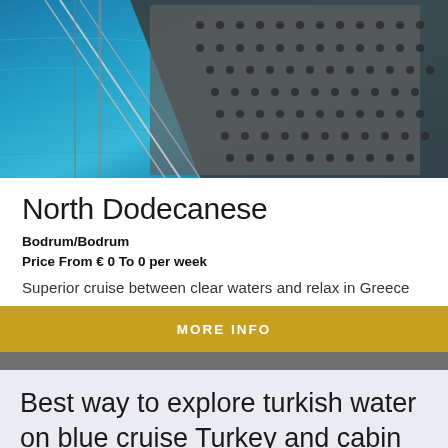[Figure (photo): A sailboat deck with metal railing and perforated walkway platform over clear turquoise-blue sea water, viewed from above]
North Dodecanese
Bodrum/Bodrum
Price From € 0 To 0 per week
Superior cruise between clear waters and relax in Greece
MORE INFO
Best way to explore turkish water on blue cruise Turkey and cabin charter Bodrum Turkey in this summer